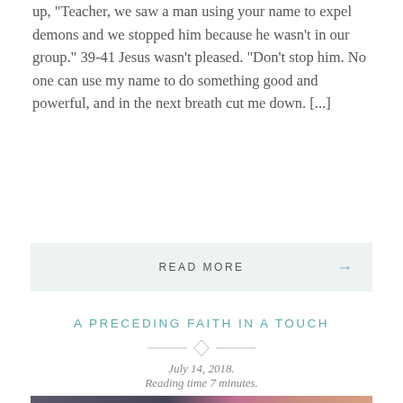up, "Teacher, we saw a man using your name to expel demons and we stopped him because he wasn't in our group." 39-41 Jesus wasn't pleased. "Don't stop him. No one can use my name to do something good and powerful, and in the next breath cut me down. [...]
READ MORE →
A PRECEDING FAITH IN A TOUCH
July 14, 2018.
Reading time 7 minutes.
[Figure (photo): Dark background with vertical grey stripes on the left half, colorful pink and orange hues on the right half, with a monarch butterfly visible at bottom right]